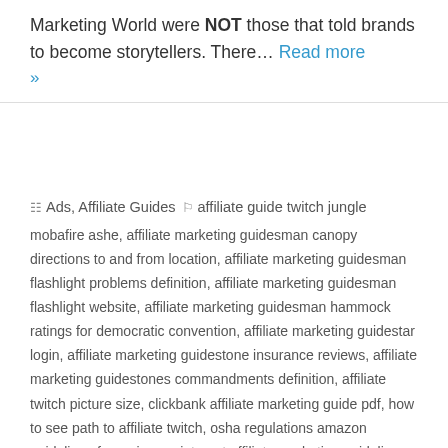Marketing World were NOT those that told brands to become storytellers. There… Read more »
Ads, Affiliate Guides   affiliate guide twitch jungle mobafire ashe, affiliate marketing guidesman canopy directions to and from location, affiliate marketing guidesman flashlight problems definition, affiliate marketing guidesman flashlight website, affiliate marketing guidesman hammock ratings for democratic convention, affiliate marketing guidestar login, affiliate marketing guidestone insurance reviews, affiliate marketing guidestones commandments definition, affiliate twitch picture size, clickbank affiliate marketing guide pdf, how to see path to affiliate twitch, osha regulations amazon guidelines for reviews, pinterest affiliate marketing guidelines cms schools careers, pinterest affiliate marketing guidelines hdcp cable, ppp loan affiliate